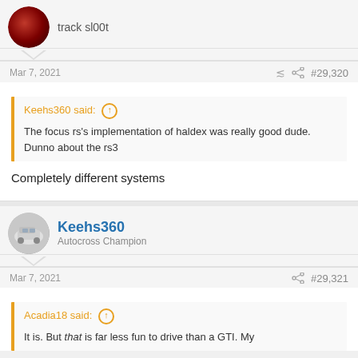track sl00t
Mar 7, 2021  #29,320
Keehs360 said: The focus rs's implementation of haldex was really good dude. Dunno about the rs3
Completely different systems
Keehs360
Autocross Champion
Mar 7, 2021  #29,321
Acadia18 said: It is. But that is far less fun to drive than a GTI. My